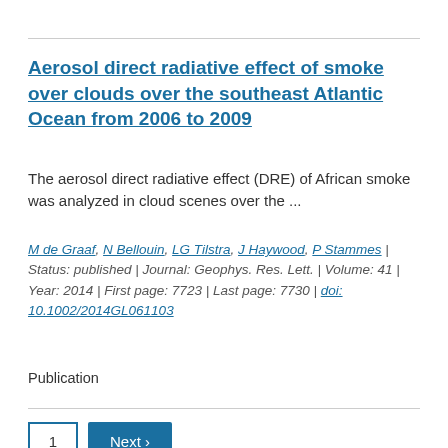Aerosol direct radiative effect of smoke over clouds over the southeast Atlantic Ocean from 2006 to 2009
The aerosol direct radiative effect (DRE) of African smoke was analyzed in cloud scenes over the ...
M de Graaf, N Bellouin, LG Tilstra, J Haywood, P Stammes | Status: published | Journal: Geophys. Res. Lett. | Volume: 41 | Year: 2014 | First page: 7723 | Last page: 7730 | doi: 10.1002/2014GL061103
Publication